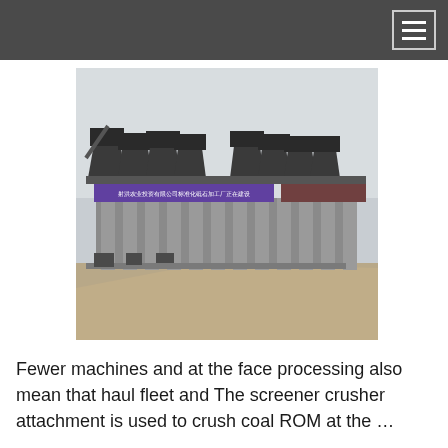[Figure (photo): Industrial coal processing facility with large conveyor screening/crushing equipment mounted on concrete pillars, with a Chinese banner/sign across the front, set on a gravel/dirt site under an overcast sky.]
Fewer machines and at the face processing also mean that haul fleet and The screener crusher attachment is used to crush coal ROM at the …